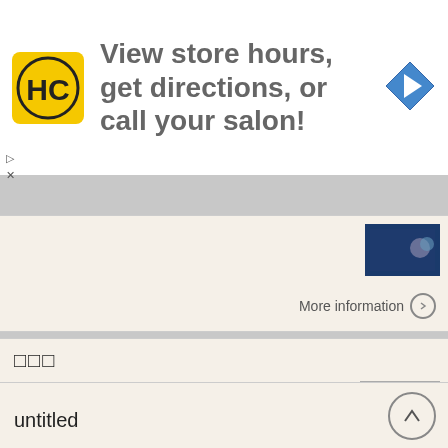[Figure (other): Advertisement banner for HC (Hair Club or similar) salon with logo, text 'View store hours, get directions, or call your salon!' and navigation arrow icon]
[Figure (other): Collapsed card section with thumbnail image and More information link]
[Figure (other): Card section with CJK title characters and numerical data text and thumbnail]
untitled